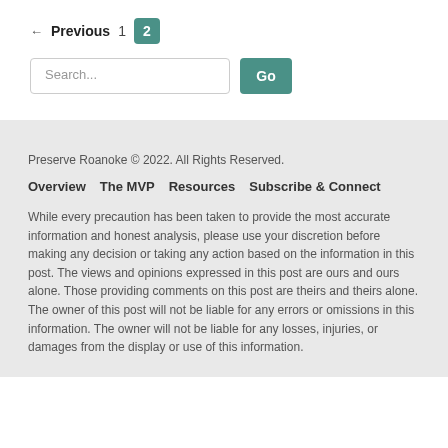← Previous  1  2
Search...  Go
Preserve Roanoke © 2022. All Rights Reserved.
Overview  The MVP  Resources  Subscribe & Connect
While every precaution has been taken to provide the most accurate information and honest analysis, please use your discretion before making any decision or taking any action based on the information in this post. The views and opinions expressed in this post are ours and ours alone. Those providing comments on this post are theirs and theirs alone. The owner of this post will not be liable for any errors or omissions in this information. The owner will not be liable for any losses, injuries, or damages from the display or use of this information.